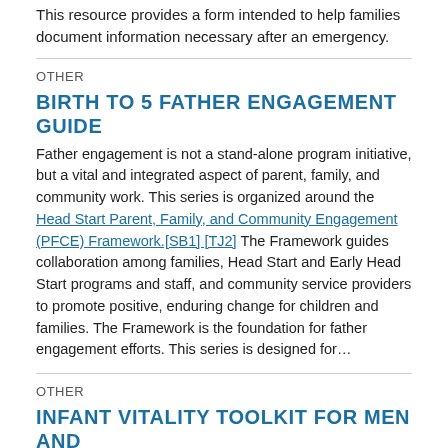This resource provides a form intended to help families document information necessary after an emergency.
OTHER
BIRTH TO 5 FATHER ENGAGEMENT GUIDE
Father engagement is not a stand-alone program initiative, but a vital and integrated aspect of parent, family, and community work. This series is organized around the Head Start Parent, Family, and Community Engagement (PFCE) Framework.[SB1] [TJ2]  The Framework guides collaboration among families, Head Start and Early Head Start programs and staff, and community service providers to promote positive, enduring change for children and families. The Framework is the foundation for father engagement efforts. This series is designed for…
OTHER
INFANT VITALITY TOOLKIT FOR MEN AND